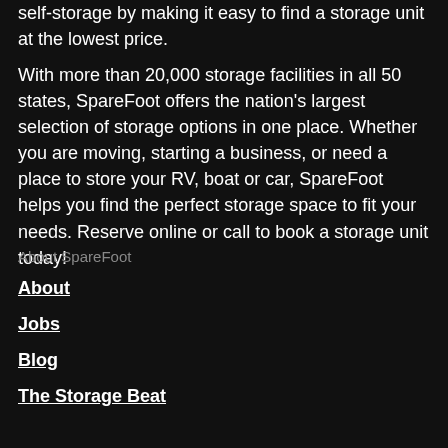self-storage by making it easy to find a storage unit at the lowest price.
With more than 20,000 storage facilities in all 50 states, SpareFoot offers the nation's largest selection of storage options in one place. Whether you are moving, starting a business, or need a place to store your RV, boat or car, SpareFoot helps you find the perfect storage space to fit your needs. Reserve online or call to book a storage unit today!
About SpareFoot
About
Jobs
Blog
The Storage Beat
Storage near me
Moving guides
Terms of use